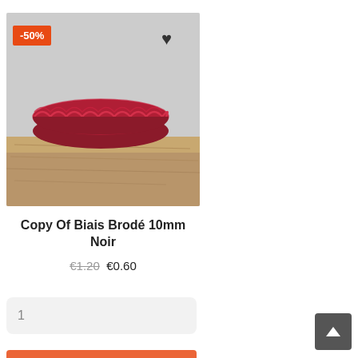[Figure (photo): A red crocheted/embroidered bias tape roll resting on a rustic wooden surface, against a light grey background. A -50% discount badge is in the top-left corner and a heart icon in the top-right of the image.]
Copy Of Biais Brodé 10mm Noir
€1.20 €0.60
1